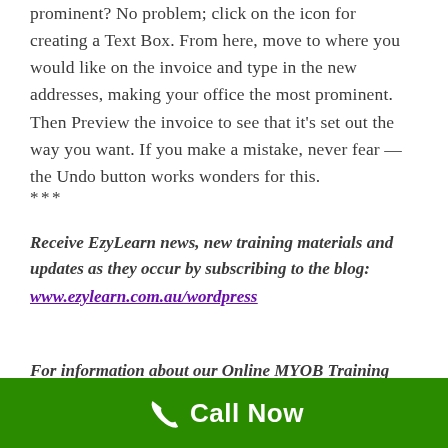prominent? No problem; click on the icon for creating a Text Box. From here, move to where you would like on the invoice and type in the new addresses, making your office the most prominent. Then Preview the invoice to see that it's set out the way you want. If you make a mistake, never fear — the Undo button works wonders for this.
***
Receive EzyLearn news, new training materials and updates as they occur by subscribing to the blog: www.ezylearn.com.au/wordpress
For information about our Online MYOB Training Course and new Lifetime Membership for all students, please visit:
Call Now